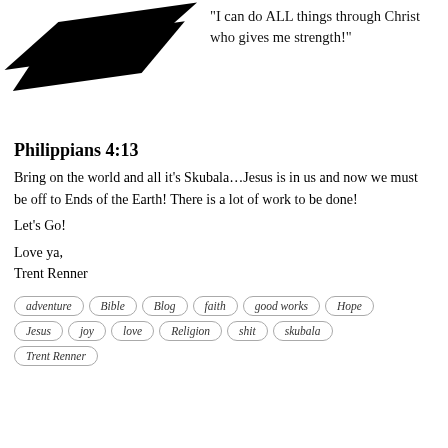[Figure (illustration): Black angular shape resembling a logo or swoosh in the upper left area]
“I can do ALL things through Christ who gives me strength!”
Philippians 4:13
Bring on the world and all it’s Skubala…Jesus is in us and now we must be off to Ends of the Earth! There is a lot of work to be done!
Let’s Go!
Love ya,
Trent Renner
adventure
Bible
Blog
faith
good works
Hope
Jesus
joy
love
Religion
shit
skubala
Trent Renner